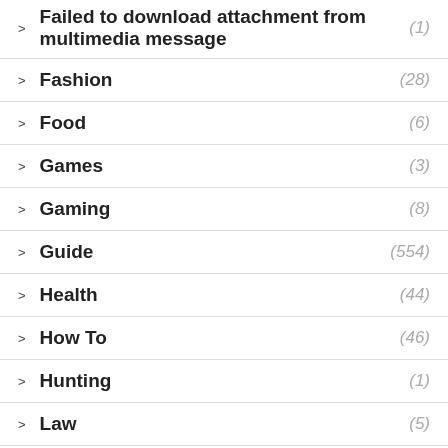Failed to download attachment from multimedia message (1)
Fashion (28)
Food (6)
Games (3)
Gaming (8)
Guide (554)
Health (44)
How To (46)
Hunting (1)
Law (5)
Lifestyle (64)